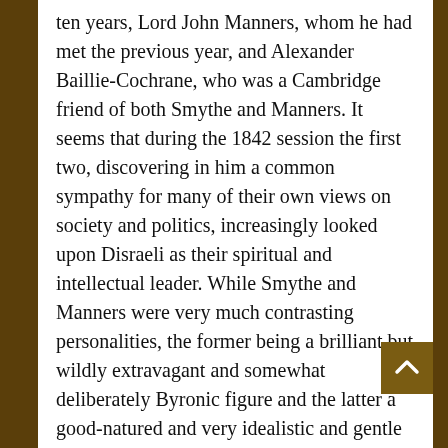ten years, Lord John Manners, whom he had met the previous year, and Alexander Baillie-Cochrane, who was a Cambridge friend of both Smythe and Manners. It seems that during the 1842 session the first two, discovering in him a common sympathy for many of their own views on society and politics, increasingly looked upon Disraeli as their spiritual and intellectual leader. While Smythe and Manners were very much contrasting personalities, the former being a brilliant but wildly extravagant and somewhat deliberately Byronic figure and the latter a good-natured and very idealistic and gentle devotee of lost causes, they shared a nostalgic perspective on the Tory Party, the Church, the Monarchy, and the general progress of recent political events that was the antithesis of the “liberal utilitarian spirit of the time” (Blake 171) and that seemed to harmonize with the